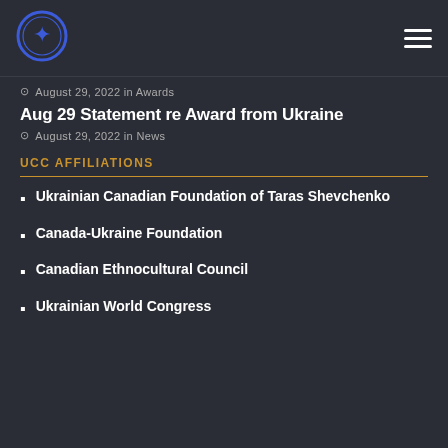[Figure (logo): UCC circular logo with maple leaf and trident emblem, blue border]
August 29, 2022 in Awards
Aug 29 Statement re Award from Ukraine
August 29, 2022 in News
UCC AFFILIATIONS
Ukrainian Canadian Foundation of Taras Shevchenko
Canada-Ukraine Foundation
Canadian Ethnocultural Council
Ukrainian World Congress